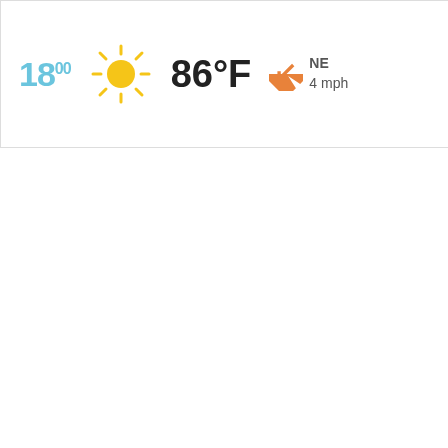[Figure (infographic): Weather widget showing time 18:00, sunny icon, temperature 86°F, wind direction NE at 4 mph]
[Figure (stacked-bar-chart): Gloomy days chart]
Gloomy days
Average S
[Figure (bar-chart): Average S]